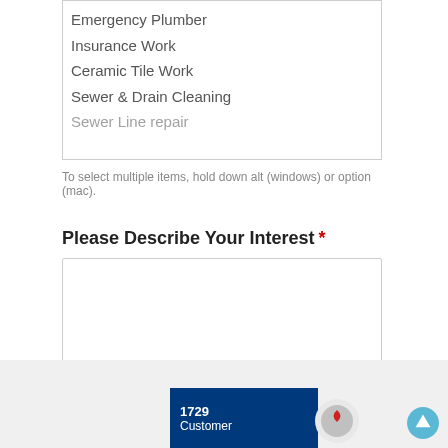Emergency Plumber
Insurance Work
Ceramic Tile Work
Sewer & Drain Cleaning
Sewer Line repair
To select multiple items, hold down alt (windows) or option (mac).
Please Describe Your Interest *
(text area input field)
Submit
[Figure (screenshot): Footer area with gray background, blue banner showing '1729 Customer' and a circular graphic icon, plus a scroll-up arrow on the right.]